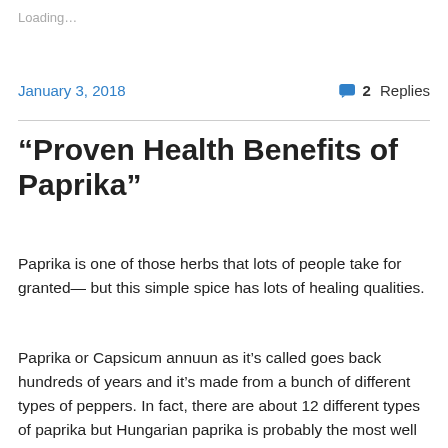Loading…
January 3, 2018
2 Replies
“Proven Health Benefits of Paprika”
Paprika is one of those herbs that lots of people take for granted— but this simple spice has lots of healing qualities.
Paprika or Capsicum annuun as it’s called goes back hundreds of years and it’s made from a bunch of different types of peppers. In fact, there are about 12 different types of paprika but Hungarian paprika is probably the most well